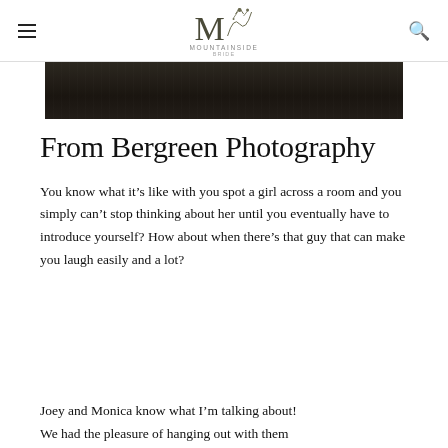Mountainside Bride
[Figure (photo): Dark/moody photograph strip showing people in a forest or outdoor setting, cropped to show only the lower/mid portion]
From Bergreen Photography
You know what it’s like with you spot a girl across a room and you simply can’t stop thinking about her until you eventually have to introduce yourself? How about when there’s that guy that can make you laugh easily and a lot?
Joey and Monica know what I’m talking about! We had the pleasure of hanging out with them